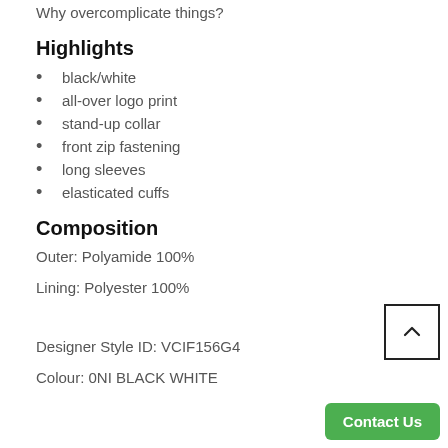Why overcomplicate things?
Highlights
black/white
all-over logo print
stand-up collar
front zip fastening
long sleeves
elasticated cuffs
Composition
Outer: Polyamide 100%
Lining: Polyester 100%
Designer Style ID: VCIF156G4
Colour:  0NI BLACK WHITE